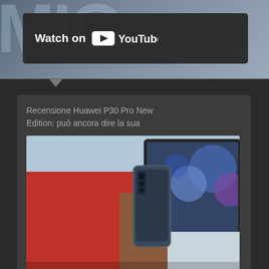[Figure (screenshot): YouTube 'Watch on YouTube' banner overlay on a dark background with large watermark letters visible behind it]
Recensione Huawei P30 Pro New Edition: può ancora dire la sua
[Figure (photo): Person in red clothing holding a Huawei P30 Pro smartphone, with a laptop showing colorful wallpaper in the background on a white surface]